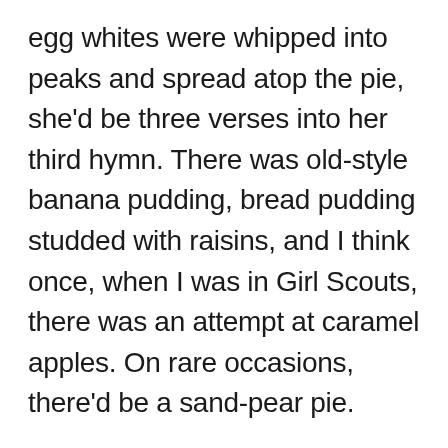egg whites were whipped into peaks and spread atop the pie, she'd be three verses into her third hymn. There was old-style banana pudding, bread pudding studded with raisins, and I think once, when I was in Girl Scouts, there was an attempt at caramel apples. On rare occasions, there'd be a sand-pear pie.
I'd watch her work, as she mimicked her mother's steps. I was too young to see how the rhythm of the rolling pin across the dough and the notes forming in my mother's throat helped her bear a bone-